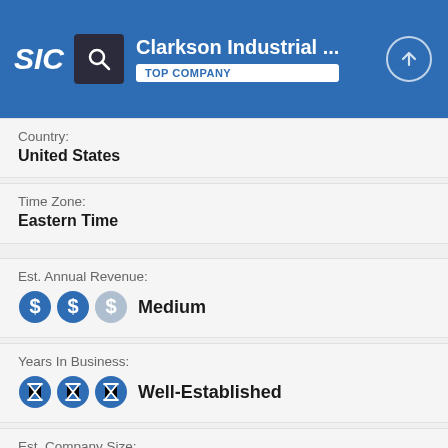SIC | Clarkson Industrial ... | TOP COMPANY
Country:
United States
Time Zone:
Eastern Time
Est. Annual Revenue:
[Figure (infographic): Three dollar-sign circles (two filled blue, one lighter), labeled Medium]
Years In Business:
[Figure (infographic): Three hourglass circles (all filled blue), labeled Well-Established]
Est. Company Size: